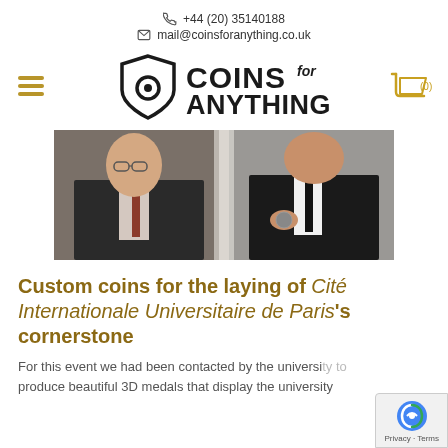+44 (20) 35140188
mail@coinsforanything.co.uk
[Figure (logo): Coins for Anything logo with shield icon on left and COINS for ANYTHING text on right]
[Figure (photo): Two men in suits at an event, one holding a coin/medal]
Custom coins for the laying of Cité Internationale Universitaire de Paris's cornerstone
For this event we had been contacted by the university to produce beautiful 3D medals that display the university